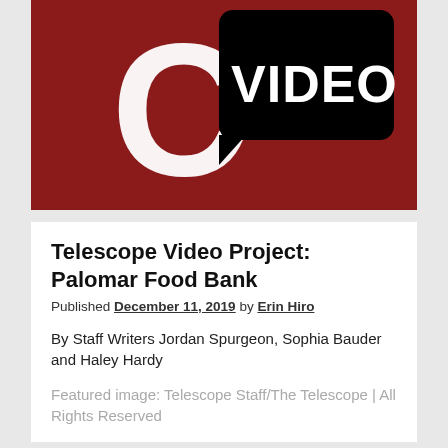[Figure (logo): Dark red background with large white letter C on the left and black speech bubble shape containing the word VIDEO in white text on the right — the Telescope Video logo]
Telescope Video Project: Palomar Food Bank
Published December 11, 2019 by Erin Hiro
By Staff Writers Jordan Spurgeon, Sophia Bauder and Haley Hardy
Featured image: Telescope Staff/The Telescope | All Rights Reserved